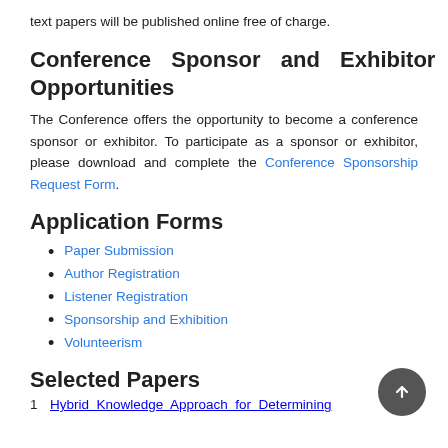text papers will be published online free of charge.
Conference Sponsor and Exhibitor Opportunities
The Conference offers the opportunity to become a conference sponsor or exhibitor. To participate as a sponsor or exhibitor, please download and complete the Conference Sponsorship Request Form.
Application Forms
Paper Submission
Author Registration
Listener Registration
Sponsorship and Exhibition
Volunteerism
Selected Papers
1 Hybrid Knowledge Approach for Determining